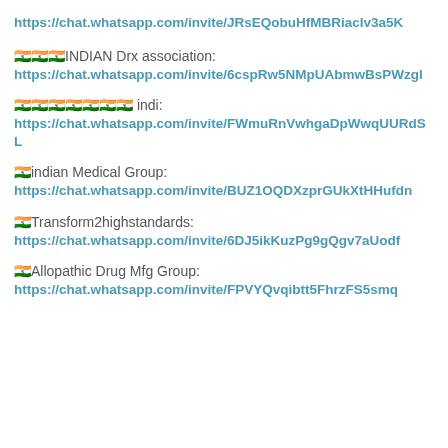https://chat.whatsapp.com/invite/JRsEQobuHfMBRiacIv3a5K
🇮🇳🇮🇳🇮🇳INDIAN Drx association:
https://chat.whatsapp.com/invite/6cspRw5NMpUAbmwBsPWzgl
🇮🇳🇮🇳🇮🇳🇮🇳🇮🇳🇮🇳🇮🇳 indi:
https://chat.whatsapp.com/invite/FWmuRnVwhgaDpWwqUURdSL
🇮indian Medical Group:
https://chat.whatsapp.com/invite/BUZ1OQDXzprGUkXtHHufdn
🇮Transform2highstandards:
https://chat.whatsapp.com/invite/6DJ5ikKuzPg9gQgv7aUodf
🇮Allopathic Drug Mfg Group:
https://chat.whatsapp.com/invite/FPVYQvqibtt5FhrzFS5smq